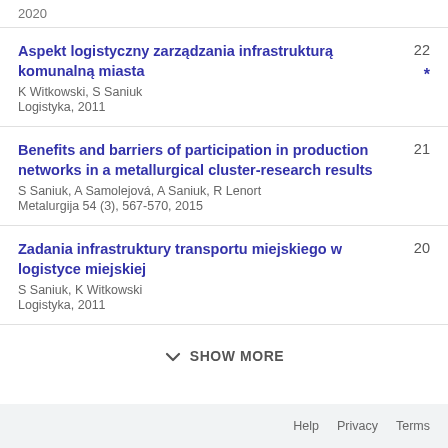2020
Aspekt logistyczny zarządzania infrastrukturą komunalną miasta
K Witkowski, S Saniuk
Logistyka, 2011
22 *
Benefits and barriers of participation in production networks in a metallurgical cluster-research results
S Saniuk, A Samolejová, A Saniuk, R Lenort
Metalurgija 54 (3), 567-570, 2015
21
Zadania infrastruktury transportu miejskiego w logistyce miejskiej
S Saniuk, K Witkowski
Logistyka, 2011
20
SHOW MORE
Help   Privacy   Terms